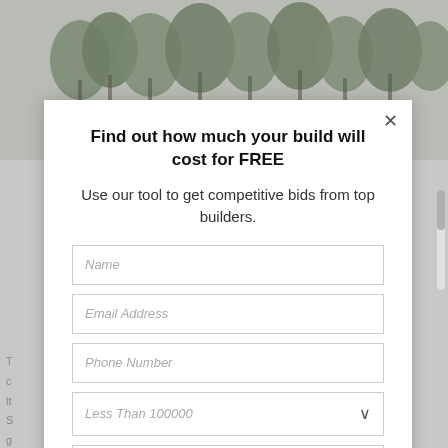[Figure (photo): Background photo of palm trees, muted grey-green tones at the top of the page behind the modal dialog]
Find out how much your build will cost for FREE
Use our tool to get competitive bids from top builders.
Name
Email Address
Phone Number
Less Than 100000
Address